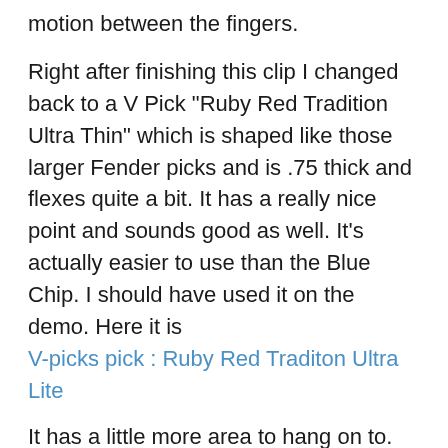motion between the fingers.
Right after finishing this clip I changed back to a V Pick "Ruby Red Tradition Ultra Thin" which is shaped like those larger Fender picks and is .75 thick and flexes quite a bit. It has a really nice point and sounds good as well. It's actually easier to use than the Blue Chip. I should have used it on the demo. Here it is
V-picks pick : Ruby Red Traditon Ultra Lite
It has a little more area to hang on to.
Having said all that let me also say that I can use almost any pick and make the technique work to a degree but thinner is better as a rule (for me)
You asked how long it took to resist baling on the